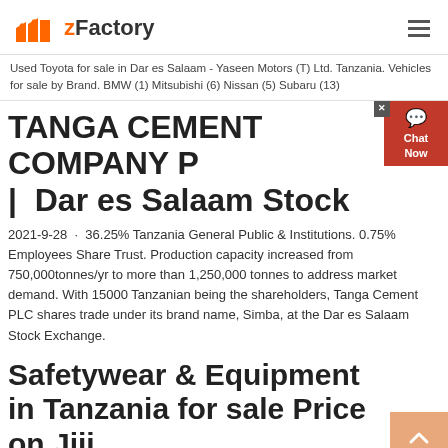zFactory
Used Toyota for sale in Dar es Salaam - Yaseen Motors (T) Ltd. Tanzania. Vehicles for sale by Brand. BMW (1) Mitsubishi (6) Nissan (5) Subaru (13)
TANGA CEMENT COMPANY P | Dar es Salaam Stock
2021-9-28 · 36.25% Tanzania General Public & Institutions. 0.75% Employees Share Trust. Production capacity increased from 750,000tonnes/yr to more than 1,250,000 tonnes to address market demand. With 15000 Tanzanian being the shareholders, Tanga Cement PLC shares trade under its brand name, Simba, at the Dar es Salaam Stock Exchange.
Safetywear & Equipment in Tanzania for sale Price on Jiji ...
Safetywear & Equipment in Tanzania. Types: Safes 11 Metal Detectors 3 Fire Extinguishers 3 Fire Extinguisher 3. digital Safetywear & Equipment 4